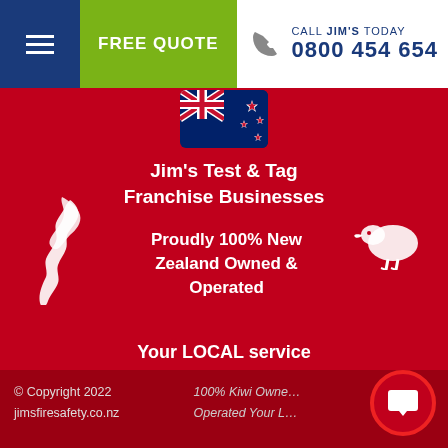FREE QUOTE | CALL JIM'S TODAY 0800 454 654
[Figure (illustration): New Zealand flag icon]
Jim's Test & Tag Franchise Businesses
Proudly 100% New Zealand Owned & Operated
[Figure (illustration): New Zealand map silhouette (white) on left side]
[Figure (illustration): Kiwi bird silhouette (white) on right side]
Your LOCAL service provider; with nationwide cover and support
© Copyright 2022 jimsfiresafety.co.nz | 100% Kiwi Owned & Operated Your L...